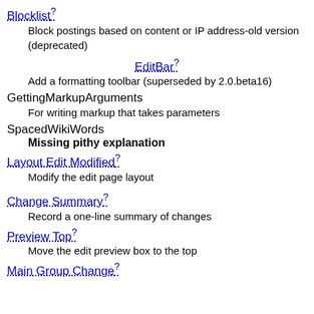Blocklist? Block postings based on content or IP address-old version (deprecated)
EditBar? Add a formatting toolbar (superseded by 2.0.beta16)
GettingMarkupArguments For writing markup that takes parameters
SpacedWikiWords Missing pithy explanation
Layout Edit Modified? Modify the edit page layout
Change Summary? Record a one-line summary of changes
Preview Top? Move the edit preview box to the top
Main Group Change?